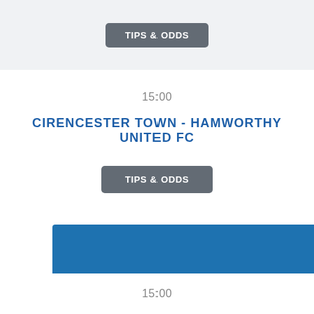TIPS & ODDS
15:00
CIRENCESTER TOWN - HAMWORTHY UNITED FC
TIPS & ODDS
bettingfellow uses cookies to improve your experience. By continuing to use this site you accept our terms & conditions. Learn more  Got it
15:00